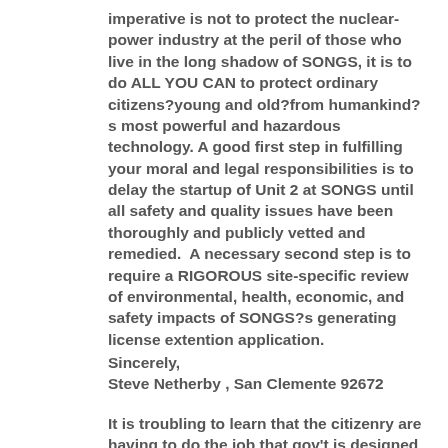imperative is not to protect the nuclear-power industry at the peril of those who live in the long shadow of SONGS, it is to do ALL YOU CAN to protect ordinary citizens?young and old?from humankind?s most powerful and hazardous technology. A good first step in fulfilling your moral and legal responsibilities is to delay the startup of Unit 2 at SONGS until all safety and quality issues have been thoroughly and publicly vetted and remedied.  A necessary second step is to require a RIGOROUS site-specific review of environmental, health, economic, and safety impacts of SONGS?s generating license extention application.
Sincerely,
Steve Netherby , San Clemente 92672

It is troubling to learn that the citizenry are having to do the job that gov't is designed to